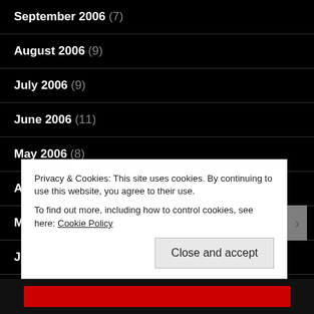September 2006 (7)
August 2006 (9)
July 2006 (9)
June 2006 (11)
May 2006 (8)
April 2006 (6)
March 2006 (6)
January 2006 (3)
December 2005 (9)
Privacy & Cookies: This site uses cookies. By continuing to use this website, you agree to their use.
To find out more, including how to control cookies, see here: Cookie Policy
Close and accept